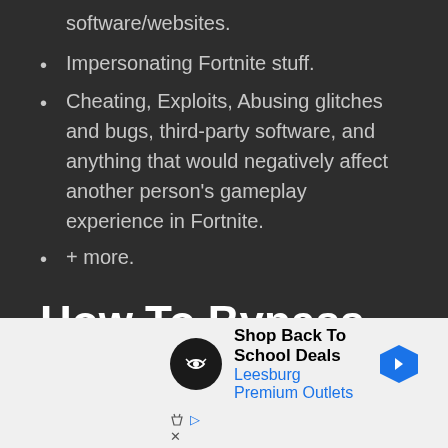software/websites.
Impersonating Fortnite stuff.
Cheating, Exploits, Abusing glitches and bugs, third-party software, and anything that would negatively affect another person's gameplay experience in Fortnite.
+ more.
How To Bypass IP Ban on Fortnite
[Figure (screenshot): Advertisement for Leesburg Premium Outlets - Shop Back To School Deals, with store icon and navigation arrow]